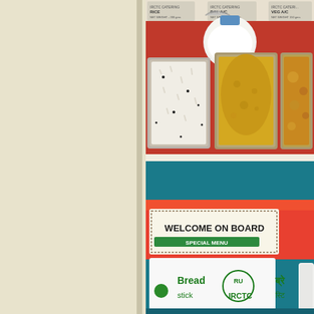[Figure (photo): Indian Railway (IRCTC) meal tray viewed from above showing aluminum foil containers with rice, dal (yellow lentils), a vegetable curry, and a small cup of raita/curd, arranged on a red tray.]
[Figure (photo): Close-up of IRCTC railway meal packaging showing a 'WELCOME ON BOARD' card, a green IRCTC logo packet labeled 'Bread' and 'IRCTC', and Hindi text, on a red/teal tray background.]